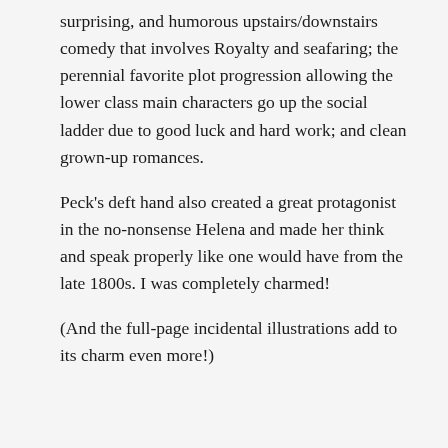surprising, and humorous upstairs/downstairs comedy that involves Royalty and seafaring; the perennial favorite plot progression allowing the lower class main characters go up the social ladder due to good luck and hard work; and clean grown-up romances.
Peck's deft hand also created a great protagonist in the no-nonsense Helena and made her think and speak properly like one would have from the late 1800s. I was completely charmed!
(And the full-page incidental illustrations add to its charm even more!)